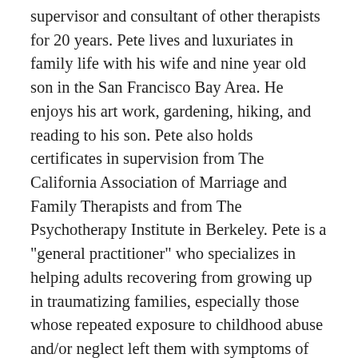supervisor and consultant of other therapists for 20 years. Pete lives and luxuriates in family life with his wife and nine year old son in the San Francisco Bay Area. He enjoys his art work, gardening, hiking, and reading to his son. Pete also holds certificates in supervision from The California Association of Marriage and Family Therapists and from The Psychotherapy Institute in Berkeley. Pete is a "general practitioner" who specializes in helping adults recovering from growing up in traumatizing families, especially those whose repeated exposure to childhood abuse and/or neglect left them with symptoms of Complex Post-Traumatic Stress Disorder [Cptsd]. He has a great deal of recovery from his own Cptsd, and his professional approach is highly enriched by his own 40 year journey of recovering. Pete's articles on a multimodal approach to treating Cptsd have been published in a number of therapy magazines and websites. His therapeutic approach is eclectic and Relational [Intersubjective]. He guides the therapeutic process with values that include empathy, vulnerability, authenticity and mutuality. Pete's first book The Tao of Fully Feeling: Harvesting Forgiveness Out Of Blame, is